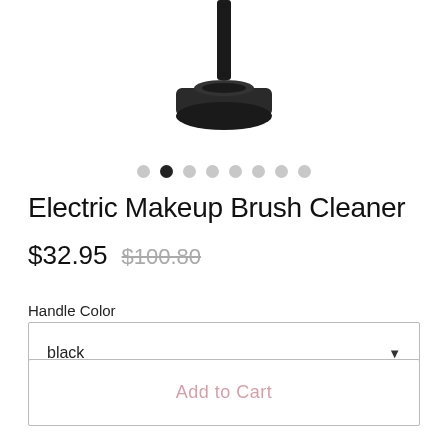[Figure (photo): Electric makeup brush cleaner device with black handle and circular base, partially cropped at top]
● ● ● ● ● ● ● ● (navigation dots, second dot active/filled)
Electric Makeup Brush Cleaner
$32.95  $100.80
Handle Color
black ▼
Add to Cart